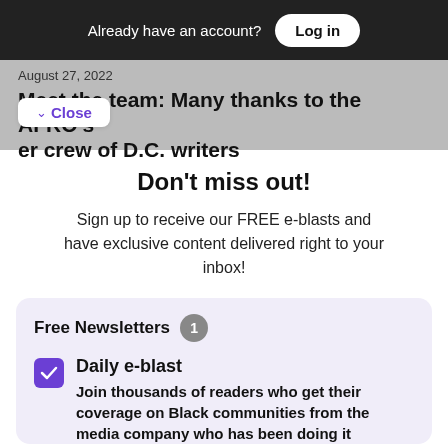Already have an account? Log in
August 27, 2022
Meet the team: Many thanks to the AFRO's er crew of D.C. writers
Close
Don't miss out!
Sign up to receive our FREE e-blasts and have exclusive content delivered right to your inbox!
Free Newsletters 1
Daily e-blast
Join thousands of readers who get their coverage on Black communities from the media company who has been doing it